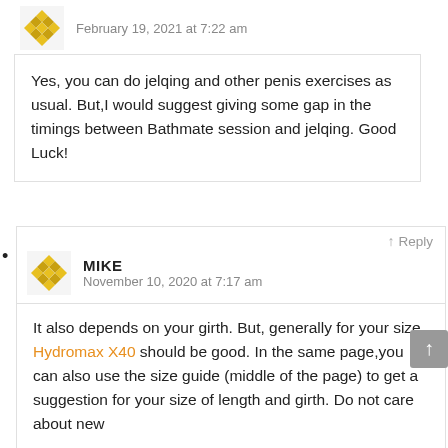[Figure (illustration): Yellow geometric avatar icon]
February 19, 2021 at 7:22 am
Yes, you can do jelqing and other penis exercises as usual. But,I would suggest giving some gap in the timings between Bathmate session and jelqing. Good Luck!
bullet point marker
Reply
[Figure (illustration): Yellow geometric avatar icon]
MIKE
November 10, 2020 at 7:17 am
It also depends on your girth. But, generally for your size, Hydromax X40 should be good. In the same page,you can also use the size guide (middle of the page) to get a suggestion for your size of length and girth. Do not care about new